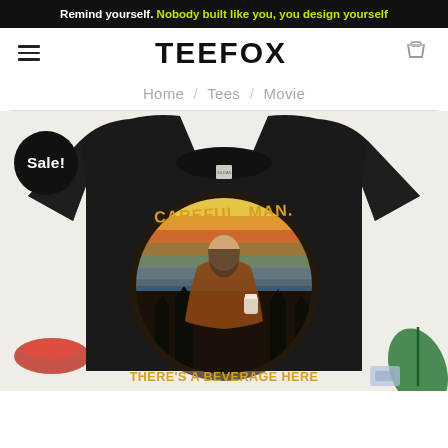Remind yourself. Nobody built like you, you design yourself
TEEFOX
Home / Tees / Movie
[Figure (photo): Black t-shirt with vintage retro sunset graphic and a man holding a drink, text reading 'Careful, Man. There's a Beverage Here'. A Sale! badge overlay on the product image. Decorative items visible around the shirt including red sandals, tropical leaf, and small items.]